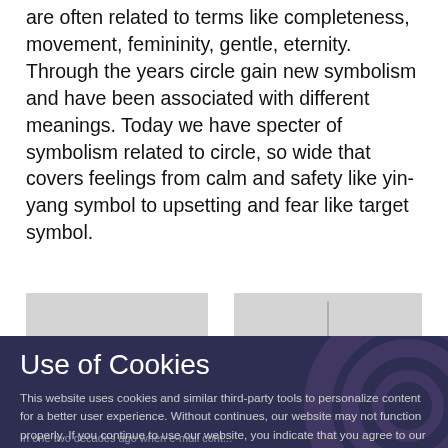are often related to terms like completeness, movement, femininity, gentle, eternity. Through the years circle gain new symbolism and have been associated with different meanings. Today we have specter of symbolism related to circle, so wide that covers feelings from calm and safety like yin-yang symbol to upsetting and fear like target symbol.
[Figure (other): Two gray placeholder image boxes side by side]
Use of Cookies
This website uses cookies and similar third-party tools to personalize content for a better user experience. Without continues, our website may not function properly. If you continue to use our website, you indicate that you agree to our terms and cookies policy.
Got it!
Practice – Branding
In one two decades ago when e-mail cont...